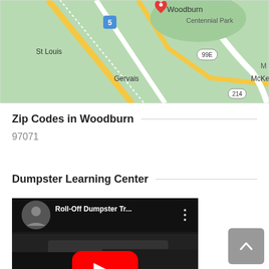[Figure (map): Google Maps view showing Woodburn area with Centennial Park, St Louis, Gervais, McKee labels and highways 5, 99E, 214]
Zip Codes in Woodburn
97071
Dumpster Learning Center
[Figure (screenshot): YouTube video thumbnail showing Roll-Off Dumpster Tr... with play button overlay, person avatar, and three-dot menu icon]